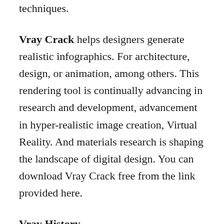techniques.
Vray Crack helps designers generate realistic infographics. For architecture, design, or animation, among others. This rendering tool is continually advancing in research and development, advancement in hyper-realistic image creation, Virtual Reality. And materials research is shaping the landscape of digital design. You can download Vray Crack free from the link provided here.
Vray History
V-Ray is a rendering engine used as an extension for some computer graphics applications. Such as 3ds Max, Maya, mode, SketchUp, Nuke, among others. The